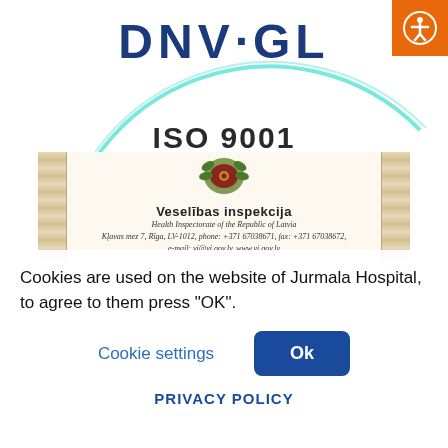[Figure (logo): DNV·GL logo with cyan circular arc and ISO 9001 text below]
[Figure (illustration): Veselibas inspekcija (Health Inspectorate of the Republic of Latvia) certificate document with decorative columns on sides, coat of arms logo, organization name, address details, and Certificate Nr.2]
[Figure (logo): Orange accessibility icon button in top right corner]
Cookies are used on the website of Jurmala Hospital, to agree to them press "OK".
Cookie settings
Ok
PRIVACY POLICY